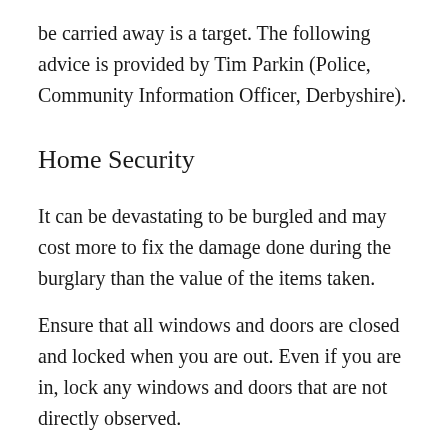be carried away is a target. The following advice is provided by Tim Parkin (Police, Community Information Officer, Derbyshire).
Home Security
It can be devastating to be burgled and may cost more to fix the damage done during the burglary than the value of the items taken.
Ensure that all windows and doors are closed and locked when you are out. Even if you are in, lock any windows and doors that are not directly observed.